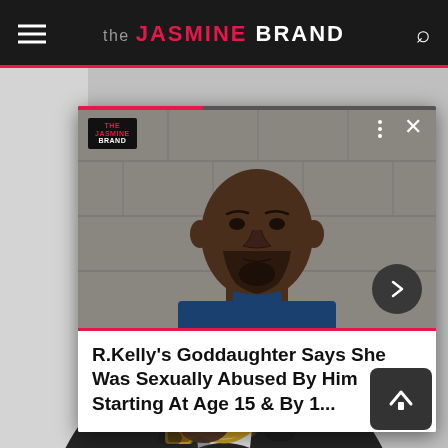the JASMINE BRAND
[Figure (screenshot): Video popup showing man's face (mugshot-style), with progress bar, logo badge, dots menu, close button, and forward arrow. Below the video is a white panel with a news headline.]
R.Kelly's Goddaughter Says She Was Sexually Abused By Him Starting At Age 15 & By 1...
[Figure (photo): Photo of a man wearing a dark camouflage hoodie and large gold chain necklace, partially visible at bottom of page.]